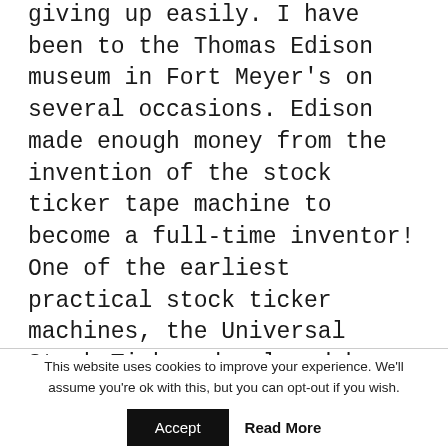giving up easily. I have been to the Thomas Edison museum in Fort Meyer's on several occasions. Edison made enough money from the invention of the stock ticker tape machine to become a full-time inventor! One of the earliest practical stock ticker machines, the Universal Stock Ticker developed by Thomas Edison in 1869, used alphanumeric characters with a printing speed of approximately one character per second.
This website uses cookies to improve your experience. We'll assume you're ok with this, but you can opt-out if you wish.
Accept   Read More